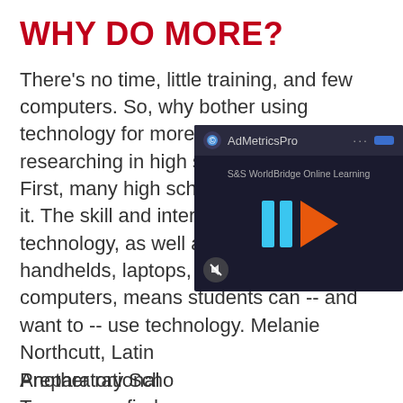WHY DO MORE?
There's no time, little training, and few computers. So, why bother using technology for more than note-taking and researching in high school classrooms? First, many high school students demand it. The skill and interest level in technology, as well as access to handhelds, laptops, and tablet computers, means students can -- and want to -- use technology. Melanie Northcutt, Latin… [Girl] Preparatory Scho… Tennessee, finds… "want to use the… everything."
[Figure (screenshot): Ad overlay from AdMetricsPro showing a video player interface with blue bars and orange play button, mute icon, and S&S WorldBridge Online Learning label]
Another rational…